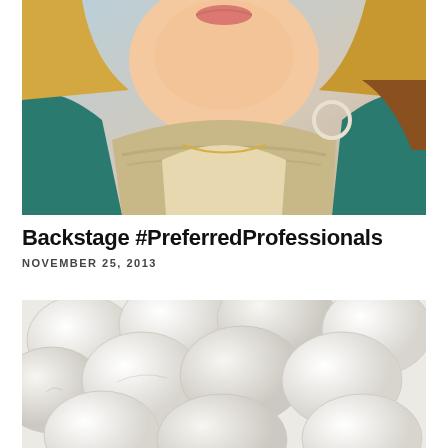[Figure (photo): Close-up portrait photo of a woman with blonde hair, wearing a teal/green jacket with fur-trimmed collar and a hoop earring, smiling.]
Backstage #PreferredProfessionals
NOVEMBER 25, 2013
[Figure (photo): Close-up photo of multiple white oval/round cosmetic pads or makeup remover pads arranged on a light background.]